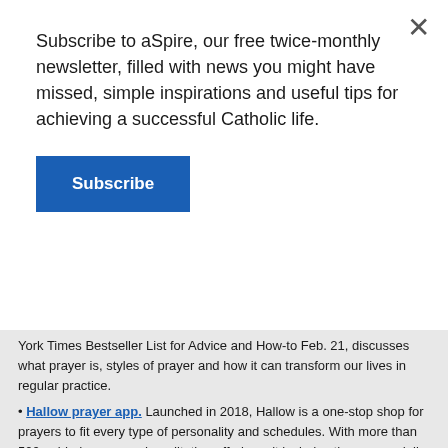Subscribe to aSpire, our free twice-monthly newsletter, filled with news you might have missed, simple inspirations and useful tips for achieving a successful Catholic life.
Subscribe
York Times Bestseller List for Advice and How-to Feb. 21, discusses what prayer is, styles of prayer and how it can transform our lives in regular practice.
Hallow prayer app. Launched in 2018, Hallow is a one-stop shop for prayers to fit every type of personality and schedules. With more than 500 guided prayer and meditation offerings, it includes the rosary; daily Lectio Divina (from five minutes to 30); homilies; a link to “Bible in a Year” by Father Mike Schmitz; morning, night and saint prayers; Bible stories; litanies; music; journaling and one-minute meditations. For Lent, a “#Pray40: St. Joseph” will lead readers closer to Jesus through the example of St. Joseph. Several features are free, but monthly subscriptions of $4.99 or yearly subscription of $59.99 unlock more content.
“Twelve Keys to Prayer,” by Father Jerome Kodell. Published in 1999 by the former abbot of Subiaco Abbey, the 16-page book